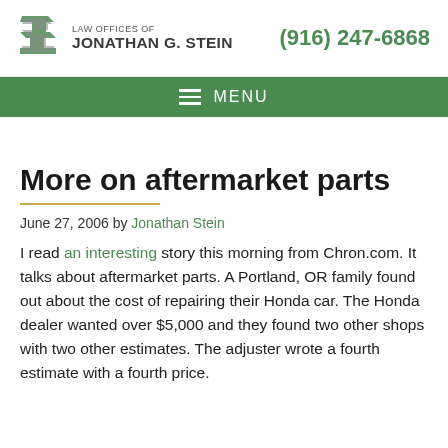LAW OFFICES OF JONATHAN G. STEIN | (916) 247-6868
[Figure (logo): Law Offices of Jonathan G. Stein logo with stylized S mark in gray and green]
More on aftermarket parts
June 27, 2006 by Jonathan Stein
I read an interesting story this morning from Chron.com. It talks about aftermarket parts. A Portland, OR family found out about the cost of repairing their Honda car. The Honda dealer wanted over $5,000 and they found two other shops with two other estimates. The adjuster wrote a fourth estimate with a fourth price.